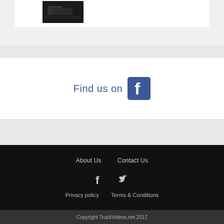[Figure (photo): Thumbnail image of a truck interior/exterior, dark tones]
[Figure (infographic): White banner with 'Find us on' text and Facebook logo icon in blue]
About Us   Contact Us
[Figure (infographic): Social media icons: Facebook and Twitter in white on black background]
Privacy policy   Terms & Conditions
Copyright TruckVideos.net 2017